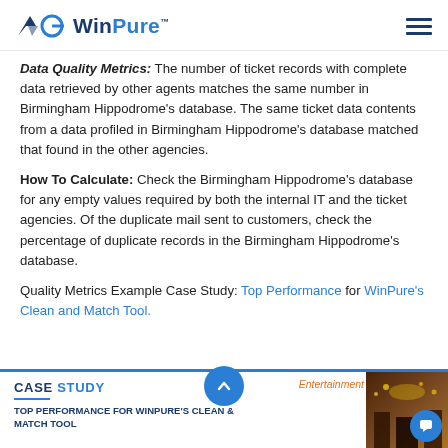WinPure
Data Quality Metrics: The number of ticket records with complete data retrieved by other agents matches the same number in Birmingham Hippodrome's database. The same ticket data contents from a data profiled in Birmingham Hippodrome's database matched that found in the other agencies.
How To Calculate: Check the Birmingham Hippodrome's database for any empty values required by both the internal IT and the ticket agencies. Of the duplicate mail sent to customers, check the percentage of duplicate records in the Birmingham Hippodrome's database.
Quality Metrics Example Case Study: Top Performance for WinPure's Clean and Match Tool.
[Figure (screenshot): Case Study banner for 'Top Performance for WinPure's Clean & Match Tool' with Entertainment tag and a photo of a venue interior on the right.]